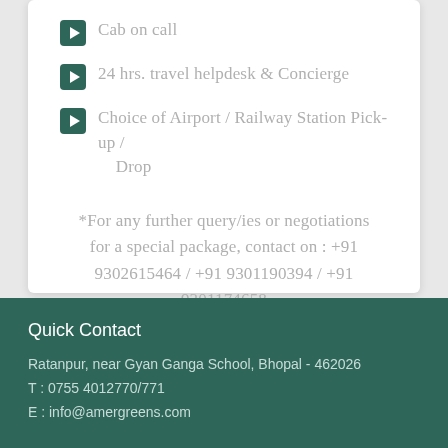Cab on call
24 hrs. travel helpdesk & Concierge
Choice of Airport / Railway Station Pick-up / Drop
*For any further query/ies or negotiations for a special package, contact on : +91 9302615464 / +91 9301190394 / +91 9301174658
Quick Contact
Ratanpur, near Gyan Ganga School, Bhopal - 462026
T : 0755 4012770/771
E : info@amergreens.com